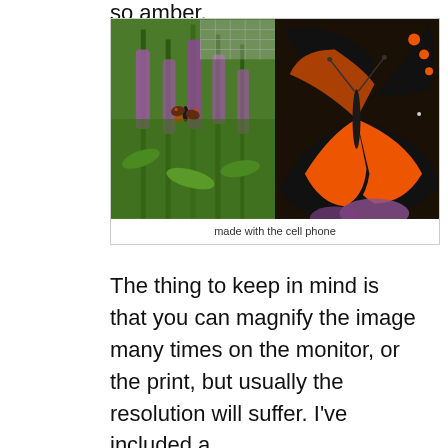so amber.
[Figure (photo): Two photos of Red Admiral butterflies on purple liatris/blazing star flowers. Left image shows a small butterfly on the flower spike with green foliage background. Right image shows a large close-up of a butterfly with black wings and orange-red bands feeding on a purple flower.]
made with the cell phone
The thing to keep in mind is that you can magnify the image many times on the monitor, or the print, but usually the resolution will suffer. I've included a